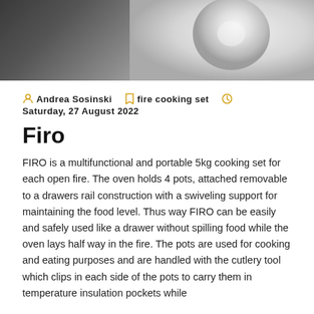[Figure (photo): Partial photo of a dark cooking vessel on the left and a light-colored rounded pot or cup on the right, against a light background.]
Andrea Sosinski   fire cooking set   Saturday, 27 August 2022
Firo
FIRO is a multifunctional and portable 5kg cooking set for each open fire. The oven holds 4 pots, attached removable to a drawers rail construction with a swiveling support for maintaining the food level. Thus way FIRO can be easily and safely used like a drawer without spilling food while the oven lays half way in the fire. The pots are used for cooking and eating purposes and are handled with the cutlery tool which clips in each side of the pots to carry them in temperature insulation pockets while